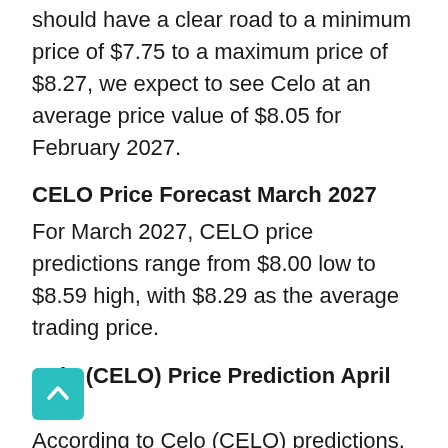should have a clear road to a minimum price of $7.75 to a maximum price of $8.27, we expect to see Celo at an average price value of $8.05 for February 2027.
CELO Price Forecast March 2027
For March 2027, CELO price predictions range from $8.00 low to $8.59 high, with $8.29 as the average trading price.
Celo (CELO) Price Prediction April 2027
According to Celo (CELO) predictions, Celo price might rise massively in a few years, it should have a clear road to a minimum